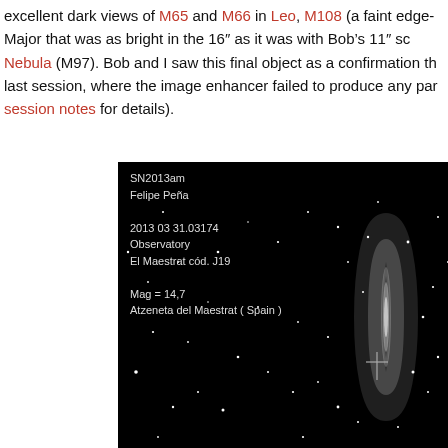excellent dark views of M65 and M66 in Leo, M108 (a faint edge-on in Ursa Major that was as bright in the 16" as it was with Bob's 11" sc... Nebula (M97). Bob and I saw this final object as a confirmation th... last session, where the image enhancer failed to produce any par... session notes for details).
[Figure (photo): Astronomical photograph of supernova SN2013am in a galaxy, taken by Felipe Peña on 2013 03 31.03174 at Observatory El Maestrat cód. J19. Magnitude = 14,7. Location: Atzeneta del Maestrat (Spain). Shows an edge-on galaxy with a crosshair marking the supernova position against a dark star field.]